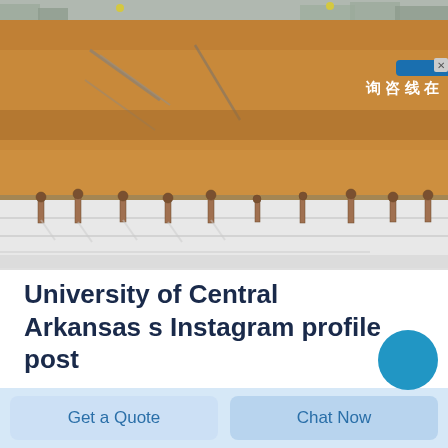[Figure (photo): Construction site photo showing an excavated area with exposed brown/orange soil layers and rebar anchor bolts protruding from a white concrete or foam foundation base. Buildings visible in background.]
University of Central Arkansas s Instagram profile post
Get a Quote
Chat Now